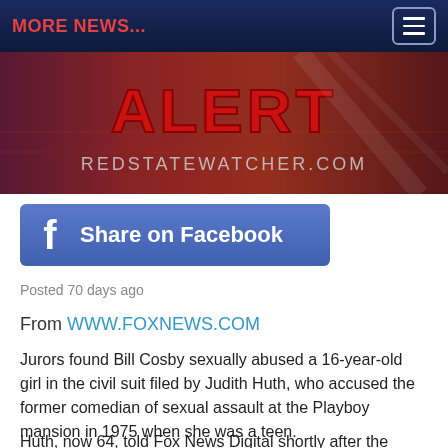MORE NEWS...
[Figure (screenshot): Red State Watcher ALERT banner with American flag background and dramatic red text reading ALERT over REDSTATEWATCHER.COM]
[Figure (other): Facebook Share on Facebook button - blue rectangular button with Facebook f logo]
Posted 70 days ago
From WWW.FOXNEWS.COM
Jurors found Bill Cosby sexually abused a 16-year-old girl in the civil suit filed by Judith Huth, who accused the former comedian of sexual assault at the Playboy mansion in 1975 when she was a teen.
Huth, now 64, told Fox News Digital shortly after the